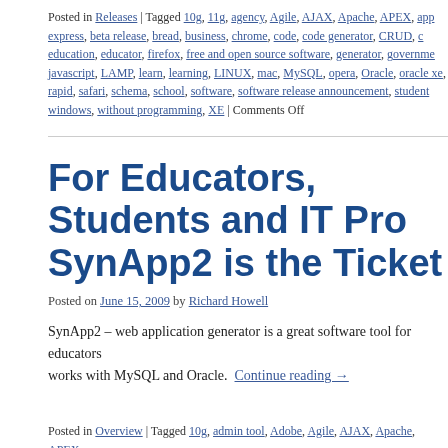Posted in Releases | Tagged 10g, 11g, agency, Agile, AJAX, Apache, APEX, app express, beta release, bread, business, chrome, code, code generator, CRUD, c education, educator, firefox, free and open source software, generator, governme javascript, LAMP, learn, learning, LINUX, mac, MySQL, opera, Oracle, oracle xe, rapid, safari, schema, school, software, software release announcement, student windows, without programming, XE | Comments Off
For Educators, Students and IT Pro SynApp2 is the Ticket
Posted on June 15, 2009 by Richard Howell
SynApp2 – web application generator is a great software tool for educators works with MySQL and Oracle. Continue reading →
Posted in Overview | Tagged 10g, admin tool, Adobe, Agile, AJAX, Apache, APEX reuse, CRUD, education, educator, Express Edition, FLOSS, FOSS, framework, learn, learning, mvc, MySQL, open source, Oracle, Oracle Application Server, Or reports, phpMyAdmin, referential integrity, relational database, Reports, schoo